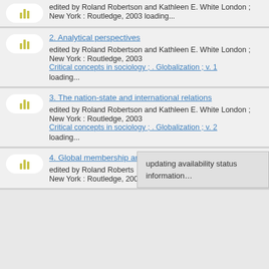1. Globalization : critical concepts in sociology — edited by Roland Robertson and Kathleen E. White — London ; New York : Routledge, 2003 — loading...
2. Analytical perspectives — edited by Roland Robertson and Kathleen E. White — London ; New York : Routledge, 2003 — Critical concepts in sociology ; . Globalization ; v. 1 — loading...
3. The nation-state and international relations — edited by Roland Robertson and Kathleen E. White — London ; New York : Routledge, 2003 — Critical concepts in sociology ; . Globalization ; v. 2 — loading...
4. Global membership and participation — edited by Roland Robertson... — London ; New York : Routledge, 2003 — updating availability status information...